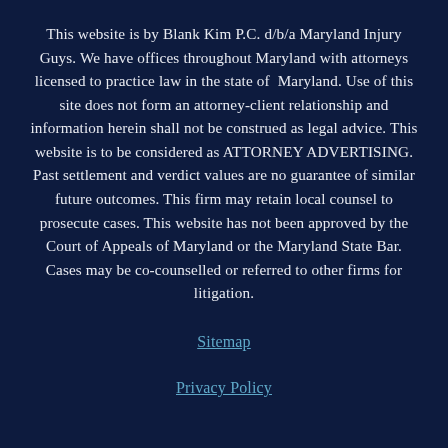This website is by Blank Kim P.C. d/b/a Maryland Injury Guys. We have offices throughout Maryland with attorneys licensed to practice law in the state of Maryland. Use of this site does not form an attorney-client relationship and information herein shall not be construed as legal advice. This website is to be considered as ATTORNEY ADVERTISING. Past settlement and verdict values are no guarantee of similar future outcomes. This firm may retain local counsel to prosecute cases. This website has not been approved by the Court of Appeals of Maryland or the Maryland State Bar. Cases may be co-counselled or referred to other firms for litigation.
Sitemap
Privacy Policy